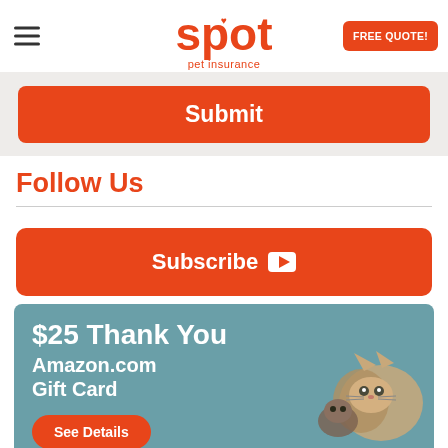spot pet insurance — FREE QUOTE!
Submit
Follow Us
Subscribe
[Figure (infographic): $25 Thank You Amazon.com Gift Card promotional banner with cat image and See Details button]